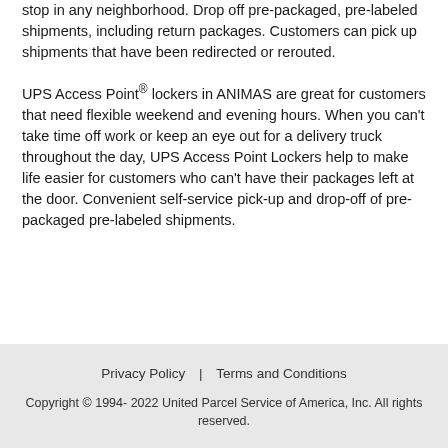stop in any neighborhood. Drop off pre-packaged, pre-labeled shipments, including return packages. Customers can pick up shipments that have been redirected or rerouted.
UPS Access Point® lockers in ANIMAS are great for customers that need flexible weekend and evening hours. When you can't take time off work or keep an eye out for a delivery truck throughout the day, UPS Access Point Lockers help to make life easier for customers who can't have their packages left at the door. Convenient self-service pick-up and drop-off of pre-packaged pre-labeled shipments.
Privacy Policy | Terms and Conditions
Copyright © 1994- 2022 United Parcel Service of America, Inc. All rights reserved.